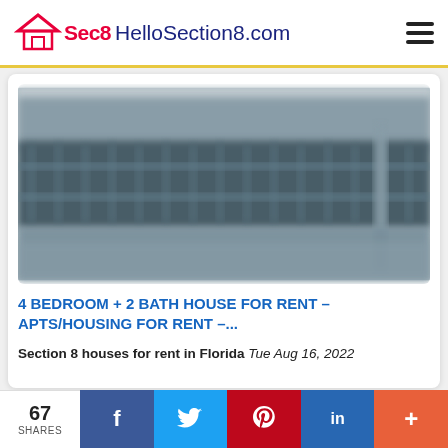Sec8 HelloSection8.com
[Figure (photo): Blurry photo of a house exterior with a wooden fence, trees in background, outdoor scene]
4 BEDROOM + 2 BATH HOUSE FOR RENT - APTS/HOUSING FOR RENT -...
Section 8 houses for rent in Florida Tue Aug 16, 2022
67 SHARES | f | t | p | in | +